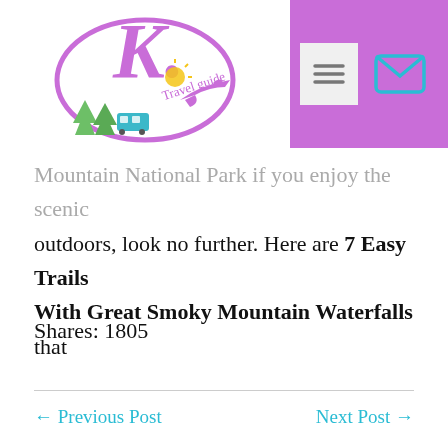[Figure (logo): K Travel Guide logo with purple K letter, circular design with trees, bus, airplane, and sun icons in purple and teal]
Mountain National Park if you enjoy the scenic outdoors, look no further. Here are 7 Easy Trails With Great Smoky Mountain Waterfalls that
Shares: 1805
← Previous Post    Next Post →